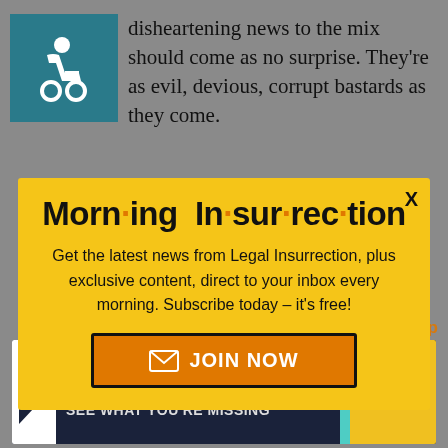disheartening news to the mix should come as no surprise. They're as evil, devious, corrupt bastards as they come.
[Figure (infographic): Modal popup advertisement for Morning Insurrection newsletter with yellow background, bold title 'Morn·ing In·sur·rec·tion', subscription text, and JOIN NOW button]
[Figure (infographic): Bottom advertisement banner for 'The Perspective' with dark background, teal accent, and yellow READ MORE button. Text: SEE WHAT YOU'RE MISSING]